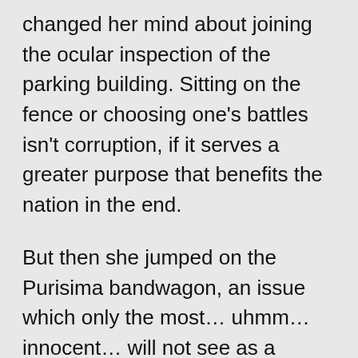changed her mind about joining the ocular inspection of the parking building. Sitting on the fence or choosing one's battles isn't corruption, if it serves a greater purpose that benefits the nation in the end.
But then she jumped on the Purisima bandwagon, an issue which only the most… uhmm… innocent… will not see as a diversion, considering that the mediamen leading the exposé are perceived protectors of VP Binay.
Poe's active involvement in this